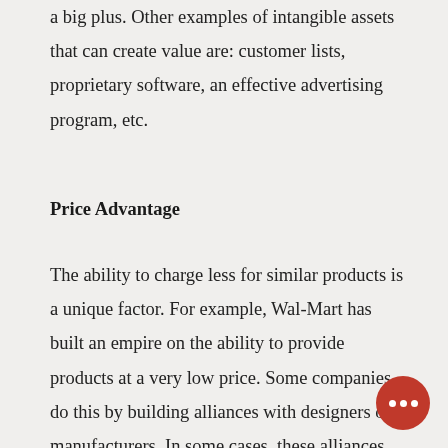a big plus. Other examples of intangible assets that can create value are: customer lists, proprietary software, an effective advertising program, etc.
Price Advantage
The ability to charge less for similar products is a unique factor. For example, Wal-Mart has built an empire on the ability to provide products at a very low price. Some companies do this by building alliances with designers or manufacturers. In some cases, these alliances develop into partnerships so